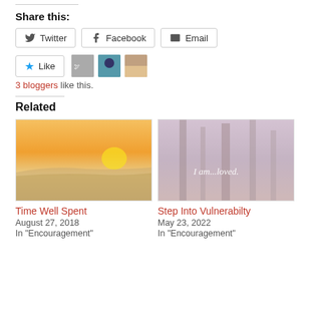Share this:
[Figure (other): Social share buttons: Twitter, Facebook, Email]
[Figure (other): Like button with 3 blogger avatars]
3 bloggers like this.
Related
[Figure (photo): Sunset over water landscape photo]
Time Well Spent
August 27, 2018
In "Encouragement"
[Figure (photo): Forest photo with text overlay: I am...loved.]
Step Into Vulnerabilty
May 23, 2022
In "Encouragement"